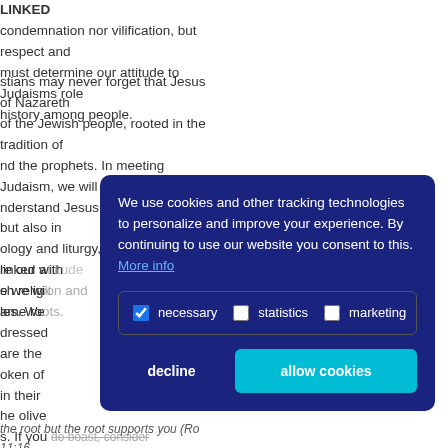LINKED condemnation nor vilification, but respect and must determine our attitude to Judaisms role history among people.
stians may never forget that Jesus of Nazareth of the Jewish people, rooted in the tradition of nd the prophets. In meeting Judaism, we will nderstand Jesus. In the scriptures, but also in ology and liturgy, we remain vitally linked with sh religion and ame roots.
re our attitude e we will les. We dressed are the oken of in their he olive s. If you do boast, consider that you do not the root but the root supports you (Ro 11:16...
[Figure (screenshot): Cookie consent dialog overlay on dark navy blue background. Text reads: 'We use cookies and other tracking technologies to personalize and improve your experience. By continuing to use our website you consent to this. More info'. Checkbox options: 'necessary' (checked), 'statistics' (unchecked), 'marketing' (unchecked). Two buttons: 'decline' and 'allow cookies' (cyan).]